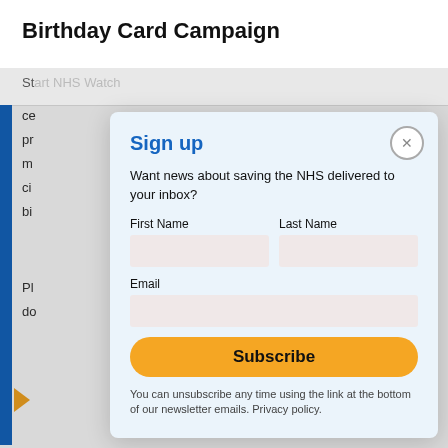Birthday Card Campaign
St… ce… pr… m… ci… bi…
Pl… do…
Sign up
Want news about saving the NHS delivered to your inbox?
First Name
Last Name
Email
Subscribe
You can unsubscribe any time using the link at the bottom of our newsletter emails. Privacy policy.